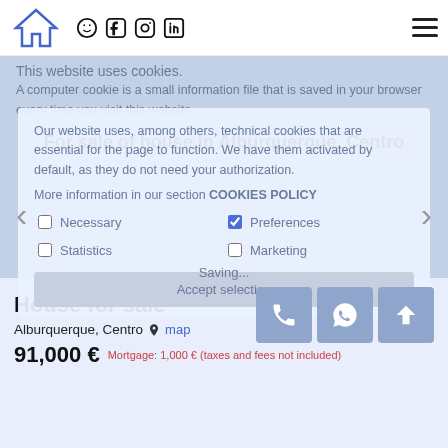[Figure (logo): RDQ Gestora de Seguros Inmobiliaria Financiación logo with house/mountain icon in blue]
[Figure (infographic): Social media icons: WhatsApp, Facebook, Instagram, LinkedIn]
[Figure (other): Hamburger menu icon (three horizontal lines)]
For sale of house in Alburquerque, Centro
This website uses cookies.
A computer cookie is a small information file that is saved in your browser every time you visit this website.
Our website uses, among others, technical cookies that are essential for the page to function. We have them activated by default, as they do not need your authorization.
More information in our section COOKIES POLICY
Necessary
Preferences
Statistics
Marketing
Accept selection
House for sale
Alburquerque, Centro 📍 map
91,000 € Mortgage: 1,000 € (taxes and fees not included)